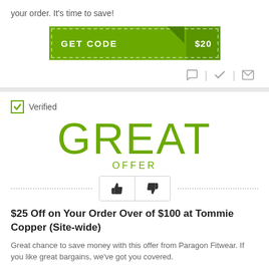your order. It's time to save!
[Figure (other): Green GET CODE button with corner fold and $20 label]
[Figure (other): Icon row with chat bubble, checkmark, and envelope icons]
Verified
GREAT
OFFER
[Figure (other): Thumbs up and thumbs down rating buttons]
$25 Off on Your Order Over of $100 at Tommie Copper (Site-wide)
Great chance to save money with this offer from Paragon Fitwear. If you like great bargains, we've got you covered.